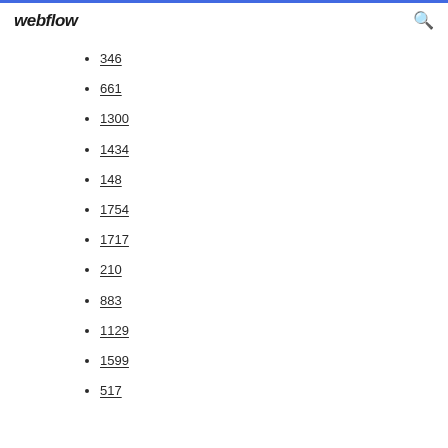webflow
346
661
1300
1434
148
1754
1717
210
883
1129
1599
517